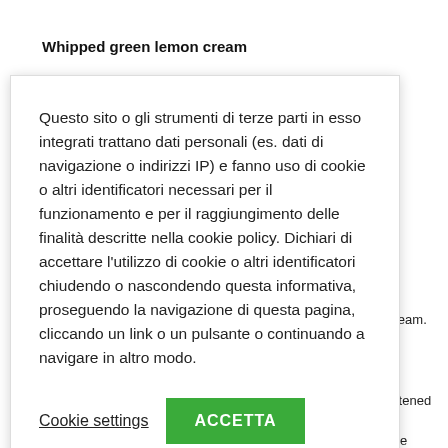Whipped green lemon cream
Questo sito o gli strumenti di terze parti in esso integrati trattano dati personali (es. dati di navigazione o indirizzi IP) e fanno uso di cookie o altri identificatori necessari per il funzionamento e per il raggiungimento delle finalità descritte nella cookie policy. Dichiari di accettare l'utilizzo di cookie o altri identificatori chiudendo o nascondendo questa informativa, proseguendo la navigazione di questa pagina, cliccando un link o un pulsante o continuando a navigare in altro modo.
Cookie settings
ACCETTA
whipped cream.
icose with
oil. Add softened
d couverture
d semi-whipped
r 24 hours. Whip
in a planetary mixer. Serve in glasses.